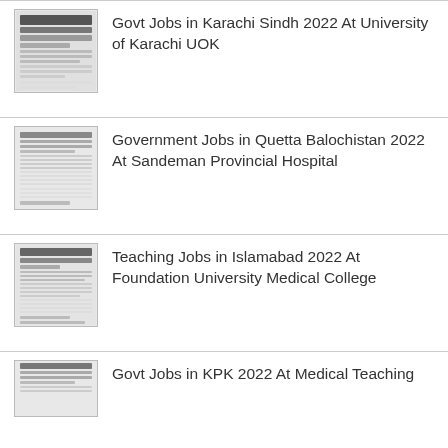Govt Jobs in Karachi Sindh 2022 At University of Karachi UOK
Government Jobs in Quetta Balochistan 2022 At Sandeman Provincial Hospital
Teaching Jobs in Islamabad 2022 At Foundation University Medical College
Govt Jobs in KPK 2022 At Medical Teaching